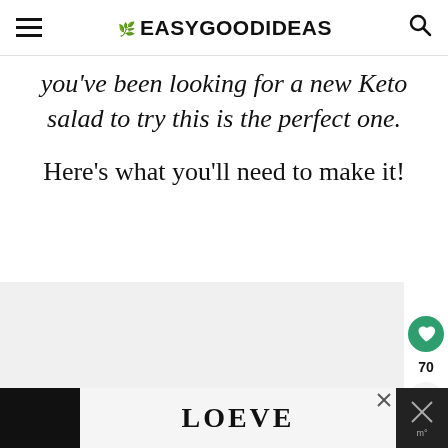EASYGOODIDEAS
you've been looking for a new Keto salad to try this is the perfect one.
Here's what you'll need to make it!
[Figure (other): Gray advertisement placeholder area]
[Figure (other): Bottom advertisement banner with LOVE decorative text logo and close buttons]